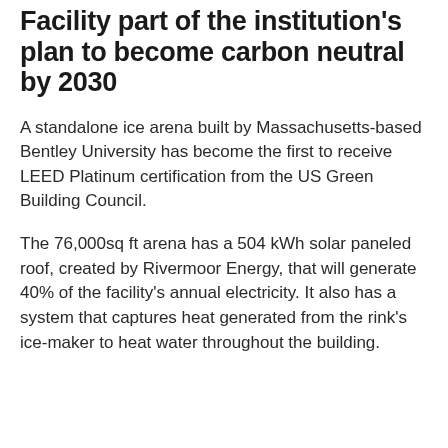Facility part of the institution's plan to become carbon neutral by 2030
A standalone ice arena built by Massachusetts-based Bentley University has become the first to receive LEED Platinum certification from the US Green Building Council.
The 76,000sq ft arena has a 504 kWh solar paneled roof, created by Rivermoor Energy, that will generate 40% of the facility's annual electricity. It also has a system that captures heat generated from the rink's ice-maker to heat water throughout the building.